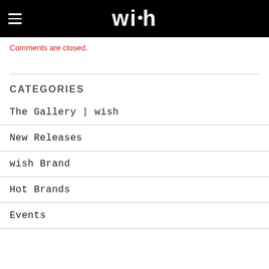wish
Comments are closed.
CATEGORIES
The Gallery | wish
New Releases
wish Brand
Hot Brands
Events